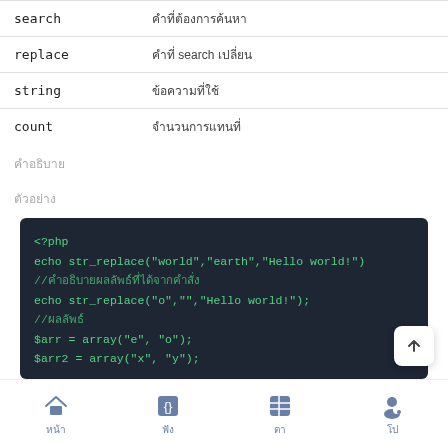| Parameter | Description |
| --- | --- |
| search | คำที่ต้องการค้นหา |
| replace | คำที่ search เปลี่ยน |
| string | ข้อความที่ใช้ |
| count | จำนวนการแทนที่ |
คำอธิบาย
ตัวอย่าง
[Figure (screenshot): PHP code block showing str_replace examples: echo str_replace("world","earth","Hello world!"); //คำอธิบายผลลัพธ์ echo str_replace("o","","Hello world!"); //ผลลัพธ์ $arr = array("e", "o"); $arr2 = array("x", "y");]
หน้าแรก  ฟังก์ชัน  ตาราง  โปรไฟล์